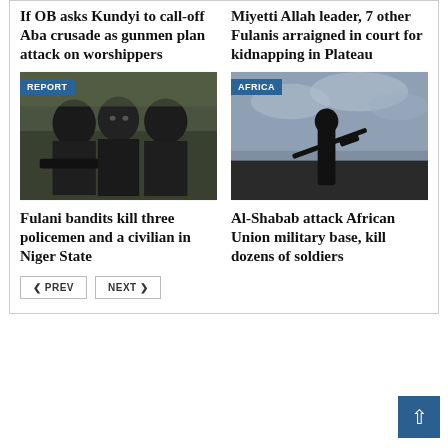If OB asks Kundyi to call-off Aba crusade as gunmen plan attack on worshippers
Miyetti Allah leader, 7 other Fulanis arraigned in court for kidnapping in Plateau
[Figure (photo): Three masked gunmen in black balaclavas holding weapons, with a REPORT badge overlay]
[Figure (photo): Silhouette of a person holding a rifle against a cloudy sky, with an AFRICA badge overlay]
Fulani bandits kill three policemen and a civilian in Niger State
Al-Shabab attack African Union military base, kill dozens of soldiers